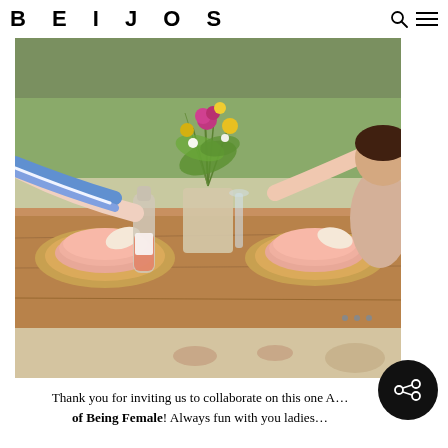BEIJOS
[Figure (photo): Outdoor table setting on sand with colorful wildflower centerpiece, pink plates on woven chargers, a bottle of pink drink, and people raising glasses in a toast. Palm trees visible in background.]
Thank you for inviting us to collaborate on this one A… of Being Female! Always fun with you ladies…